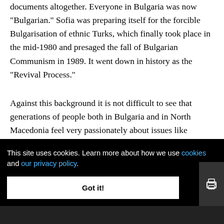documents altogether. Everyone in Bulgaria was now "Bulgarian." Sofia was preparing itself for the forcible Bulgarisation of ethnic Turks, which finally took place in the mid-1980 and presaged the fall of Bulgarian Communism in 1989. It went down in history as the "Revival Process."
Against this background it is not difficult to see that generations of people both in Bulgaria and in North Macedonia feel very passionately about issues like language, history and identity. In fact, in many cases they [identity] [railways,]
[rent]
This site uses cookies. Learn more about how we use cookies and our privacy policy.
Got it!